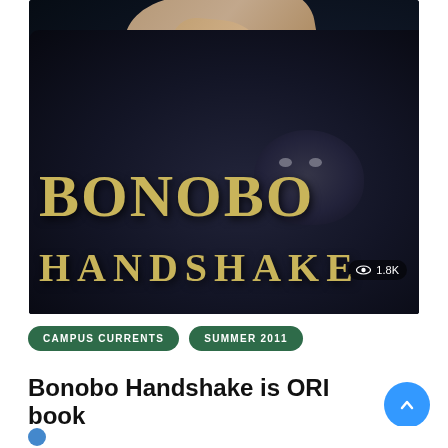[Figure (photo): Book cover of 'Bonobo Handshake' showing a dark bonobo primate being held by human hands, with the title text in gold serif font. A view count badge showing '1.8K' appears in the bottom right of the image.]
CAMPUS CURRENTS
SUMMER 2011
Bonobo Handshake is ORI book